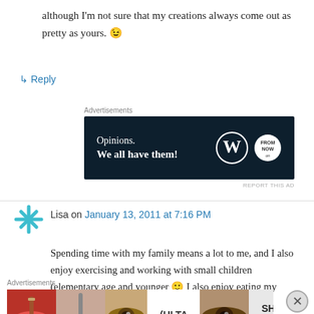although I'm not sure that my creations always come out as pretty as yours. 😉
↳ Reply
Advertisements
[Figure (other): WordPress advertisement banner: dark navy background, text 'Opinions. We all have them!' with WordPress W logo and FromNow logo on right]
Lisa on January 13, 2011 at 7:16 PM
Spending time with my family means a lot to me, and I also enjoy exercising and working with small children (elementary age and younger 🙂 I also enjoy eating my daughter's delicious food (I
Advertisements
[Figure (other): Ulta Beauty advertisement banner showing makeup images and SHOP NOW text]